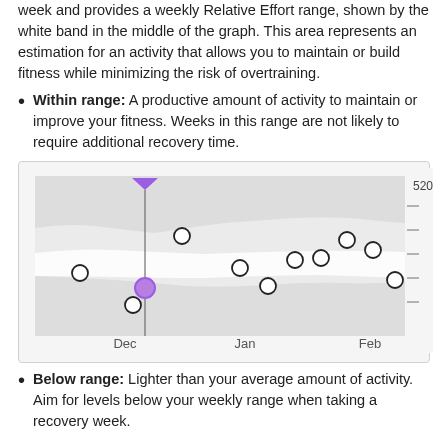week and provides a weekly Relative Effort range, shown by the white band in the middle of the graph. This area represents an estimation for an activity that allows you to maintain or build fitness while minimizing the risk of overtraining.
Within range: A productive amount of activity to maintain or improve your fitness. Weeks in this range are not likely to require additional recovery time.
[Figure (line-chart): A line chart showing weekly relative effort over Dec, Jan, Feb time period. A white band in the middle represents the target range. Data points are shown as open circles. A purple filled circle marks a selected week in Dec with a purple triangle pointer above and a vertical line. Y-axis shows value 520 at top with tick marks below. X-axis labels: Dec, Jan, Feb.]
Below range: Lighter than your average amount of activity. Aim for levels below your weekly range when taking a recovery week.